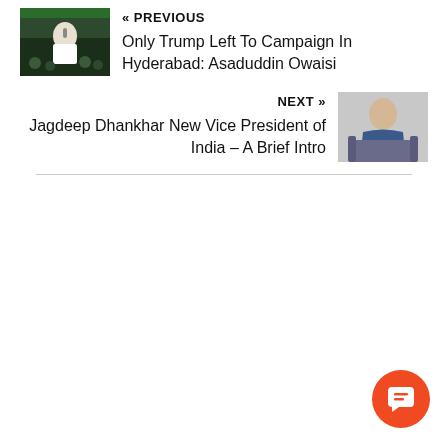« PREVIOUS
Only Trump Left To Campaign In Hyderabad: Asaduddin Owaisi
[Figure (photo): Photo of Asaduddin Owaisi speaking at a microphone, wearing white, outdoors at night]
NEXT »
Jagdeep Dhankhar New Vice President of India – A Brief Intro
[Figure (photo): Photo of Jagdeep Dhankhar seated indoors, wearing blue clothing]
[Figure (other): Orange round chat/comment button with speech bubble icon in bottom right corner]